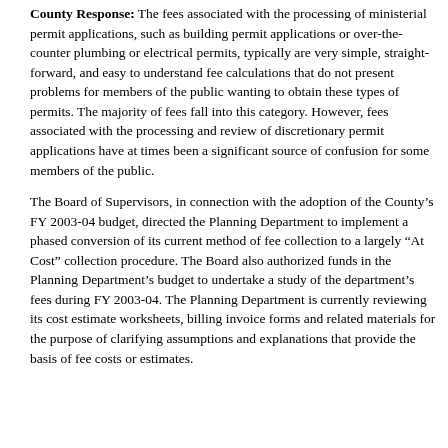County Response: The fees associated with the processing of ministerial permit applications, such as building permit applications or over-the-counter plumbing or electrical permits, typically are very simple, straightforward, and easy to understand fee calculations that do not present problems for members of the public wanting to obtain these types of permits. The majority of fees fall into this category. However, fees associated with the processing and review of discretionary permit applications have at times been a significant source of confusion for some members of the public.
The Board of Supervisors, in connection with the adoption of the County's FY 2003-04 budget, directed the Planning Department to implement a phased conversion of its current method of fee collection to a largely “At Cost” collection procedure. The Board also authorized funds in the Planning Department’s budget to undertake a study of the department’s fees during FY 2003-04. The Planning Department is currently reviewing its cost estimate worksheets, billing invoice forms and related materials for the purpose of clarifying assumptions and explanations that provide the basis of fee costs or estimates.